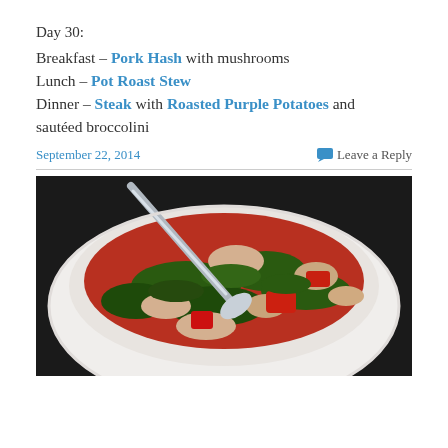Day 30:
Breakfast – Pork Hash with mushrooms
Lunch – Pot Roast Stew
Dinner – Steak with Roasted Purple Potatoes and sautéed broccolini
September 22, 2014   Leave a Reply
[Figure (photo): A white bowl filled with a stew of chicken or pork pieces, red bell peppers, and dark leafy greens (kale or spinach) in a reddish tomato sauce, with a silver spoon in the bowl, photographed from above on a dark background.]